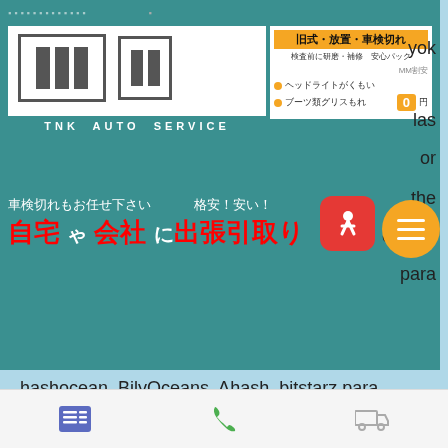[Figure (screenshot): Mobile web browser screenshot showing a Japanese auto service advertisement overlay (TNK AUTO SERVICE) on top of a webpage with Turkish/English text about bitstarz casino bonuses]
yatırma bonusu yok 20 ilmaiskierroksia. hashocean, BilyOceans, Ahash, bitstarz para yatırma bonusu yok 20 darmowe spiny. ' 90% . With humble beginnings as the simple fruit machine or "one-armed bandit", slot games now resemble something closer to a blockbuster video game than reels of apples and bananas, bitstarz para yatırma bonusu yok codes. The industry has now taken their
Navigation bar with list, phone, and truck icons